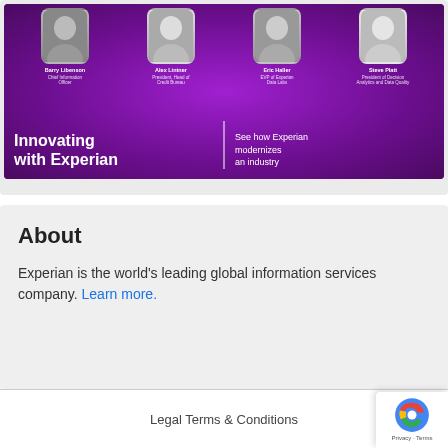[Figure (photo): Promotional banner for 'Innovating with Experian' featuring four executives: Barry Libenson (Chief Information Officer), Alex Lintner (President, Head of Credit Bureau), Eric Haller (EVP of Experian Data Labs), Steve Platt (President of Decision Analytics and Data Quality). Purple background with tagline 'See how Experian modernizes an industry'.]
About
Experian is the world's leading global information services company. Learn more.
Legal Terms & Conditions